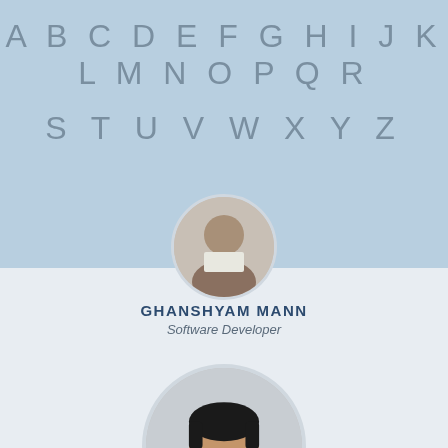[Figure (illustration): Light blue banner background with alphabet letters A B C D E F G H I J K L M N O P Q R on the first row and S T U V W X Y Z on the second row, displayed in grey on blue background]
[Figure (photo): Circular cropped profile photo of a person, partially visible at the top (bottom portion of face/torso near blue-white boundary)]
GHANSHYAM MANN
Software Developer
[Figure (photo): Circular cropped profile photo of a man with dark hair, glasses, wearing a dark blazer over white shirt, on a light grey background]